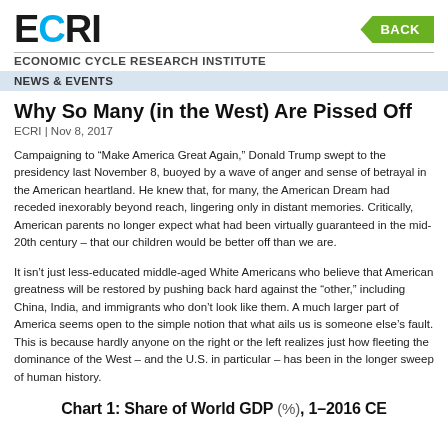ECRI — ECONOMIC CYCLE RESEARCH INSTITUTE
NEWS & EVENTS
Why So Many (in the West) Are Pissed Off
ECRI | Nov 8, 2017
Campaigning to “Make America Great Again,” Donald Trump swept to the presidency last November 8, buoyed by a wave of anger and sense of betrayal in the American heartland. He knew that, for many, the American Dream had receded inexorably beyond reach, lingering only in distant memories. Critically, American parents no longer expect what had been virtually guaranteed in the mid-20th century – that our children would be better off than we are.
It isn’t just less-educated middle-aged White Americans who believe that American greatness will be restored by pushing back hard against the “other,” including China, India, and immigrants who don’t look like them. A much larger part of America seems open to the simple notion that what ails us is someone else’s fault. This is because hardly anyone on the right or the left realizes just how fleeting the dominance of the West – and the U.S. in particular – has been in the longer sweep of human history.
Chart 1: Share of World GDP (%), 1–2016 CE